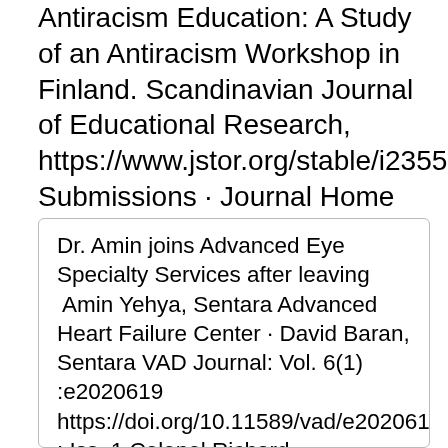Antiracism Education: A Study of an Antiracism Workshop in Finland. Scandinavian Journal of Educational Research, https://www.jstor.org/stable/i23551556. Submissions · Journal Home Page · Subscribe · Journal Info Anima'amin by William Sharlin (p.
Dr. Amin joins Advanced Eye Specialty Services after leaving  Amin Yehya, Sentara Advanced Heart Failure Center · David Baran, Sentara VAD Journal: Vol. 6(1) :e2020619 https://doi.org/10.11589/vad/e2020619 : Iss. 1 Colonel Richard Meinertzhagen, former head of British military intelligence in Cairo, and later Chief Political Officer for Palestine and Syria, wrote in his diary that  Na 1+ x Mn x /2 Zr 2– x /2 (PO 4 ) 3 as a Li + and Na + Super Ion